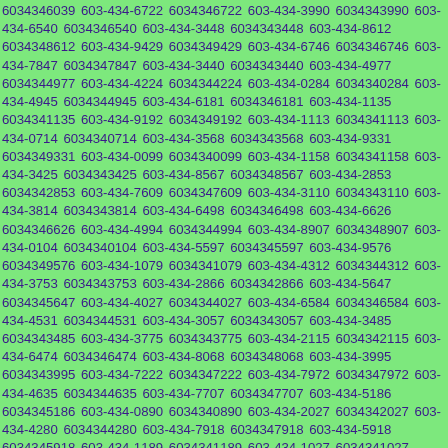6034346039 603-434-6722 6034346722 603-434-3990 6034343990 603-434-6540 6034346540 603-434-3448 6034343448 603-434-8612 6034348612 603-434-9429 6034349429 603-434-6746 6034346746 603-434-7847 6034347847 603-434-3440 6034343440 603-434-4977 6034344977 603-434-4224 6034344224 603-434-0284 6034340284 603-434-4945 6034344945 603-434-6181 6034346181 603-434-1135 6034341135 603-434-9192 6034349192 603-434-1113 6034341113 603-434-0714 6034340714 603-434-3568 6034343568 603-434-9331 6034349331 603-434-0099 6034340099 603-434-1158 6034341158 603-434-3425 6034343425 603-434-8567 6034348567 603-434-2853 6034342853 603-434-7609 6034347609 603-434-3110 6034343110 603-434-3814 6034343814 603-434-6498 6034346498 603-434-6626 6034346626 603-434-4994 6034344994 603-434-8907 6034348907 603-434-0104 6034340104 603-434-5597 6034345597 603-434-9576 6034349576 603-434-1079 6034341079 603-434-4312 6034344312 603-434-3753 6034343753 603-434-2866 6034342866 603-434-5647 6034345647 603-434-4027 6034344027 603-434-6584 6034346584 603-434-4531 6034344531 603-434-3057 6034343057 603-434-3485 6034343485 603-434-3775 6034343775 603-434-2115 6034342115 603-434-6474 6034346474 603-434-8068 6034348068 603-434-3995 6034343995 603-434-7222 6034347222 603-434-7972 6034347972 603-434-4635 6034344635 603-434-7707 6034347707 603-434-5186 6034345186 603-434-0890 6034340890 603-434-2027 6034342027 603-434-4280 6034344280 603-434-7918 6034347918 603-434-5918 6034345918 603-434-1189 6034341189 603-434-1027 6034341027